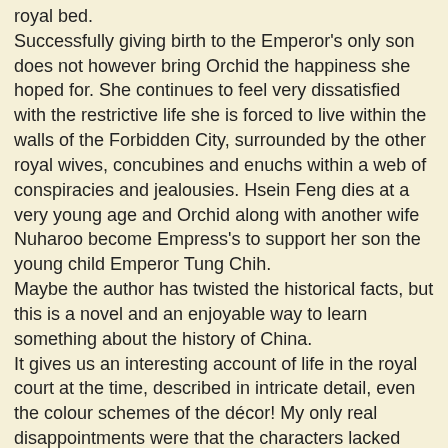royal bed. Successfully giving birth to the Emperor's only son does not however bring Orchid the happiness she hoped for. She continues to feel very dissatisfied with the restrictive life she is forced to live within the walls of the Forbidden City, surrounded by the other royal wives, concubines and enuchs within a web of conspiracies and jealousies. Hsein Feng dies at a very young age and Orchid along with another wife Nuharoo become Empress's to support her son the young child Emperor Tung Chih. Maybe the author has twisted the historical facts, but this is a novel and an enjoyable way to learn something about the history of China. It gives us an interesting account of life in the royal court at the time, described in intricate detail, even the colour schemes of the décor! My only real disappointments were that the characters lacked depth and that the story ended when Orchid was only thirty. However what the characters lacked the very vivid descriptions of life style certainly made up for. Some I found rather disturbing such as the description of the indignities that Orchid underwent during her interview. Then very much later in the book (page 316) Ormond's description of her torture of a court eunuch...